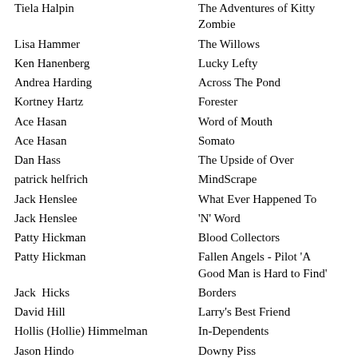| Name | Title |
| --- | --- |
| Tiela Halpin | The Adventures of Kitty Zombie |
| Lisa Hammer | The Willows |
| Ken Hanenberg | Lucky Lefty |
| Andrea Harding | Across The Pond |
| Kortney Hartz | Forester |
| Ace Hasan | Word of Mouth |
| Ace Hasan | Somato |
| Dan Hass | The Upside of Over |
| patrick helfrich | MindScrape |
| Jack Henslee | What Ever Happened To |
| Jack Henslee | 'N' Word |
| Patty Hickman | Blood Collectors |
| Patty Hickman | Fallen Angels - Pilot 'A Good Man is Hard to Find' |
| Jack  Hicks | Borders |
| David Hill | Larry's Best Friend |
| Hollis (Hollie) Himmelman | In-Dependents |
| Jason Hindo | Downy Piss |
| Elizabeth Hinnant | Art Squad |
| Benjamin Hinnant | First Cut |
| Benjamin Hinnant | Gundown |